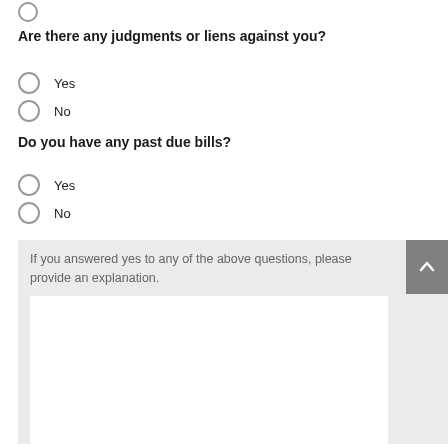○ (radio button, top partial)
Are there any judgments or liens against you?
○ Yes
○ No
Do you have any past due bills?
○ Yes
○ No
If you answered yes to any of the above questions, please provide an explanation.